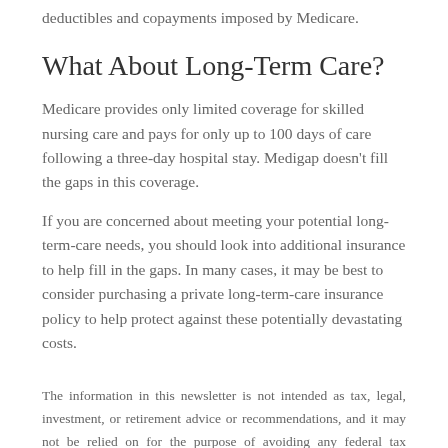deductibles and copayments imposed by Medicare.
What About Long-Term Care?
Medicare provides only limited coverage for skilled nursing care and pays for only up to 100 days of care following a three-day hospital stay. Medigap doesn't fill the gaps in this coverage.
If you are concerned about meeting your potential long-term-care needs, you should look into additional insurance to help fill in the gaps. In many cases, it may be best to consider purchasing a private long-term-care insurance policy to help protect against these potentially devastating costs.
The information in this newsletter is not intended as tax, legal, investment, or retirement advice or recommendations, and it may not be relied on for the purpose of avoiding any federal tax penalties. You are encouraged to seek guidance from an